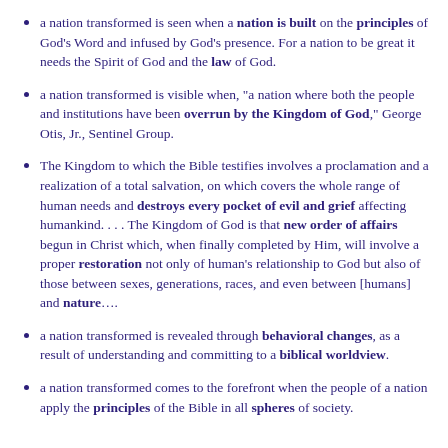a nation transformed is seen when a nation is built on the principles of God's Word and infused by God's presence. For a nation to be great it needs the Spirit of God and the law of God.
a nation transformed is visible when, "a nation where both the people and institutions have been overrun by the Kingdom of God," George Otis, Jr., Sentinel Group.
The Kingdom to which the Bible testifies involves a proclamation and a realization of a total salvation, on which covers the whole range of human needs and destroys every pocket of evil and grief affecting humankind. . . . The Kingdom of God is that new order of affairs begun in Christ which, when finally completed by Him, will involve a proper restoration not only of human's relationship to God but also of those between sexes, generations, races, and even between [humans] and nature….
a nation transformed is revealed through behavioral changes, as a result of understanding and committing to a biblical worldview.
a nation transformed comes to the forefront when the people of a nation apply the principles of the Bible in all spheres of society.